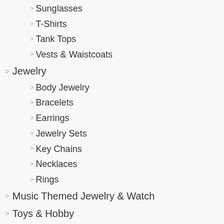Sunglasses
T-Shirts
Tank Tops
Vests & Waistcoats
Jewelry
Body Jewelry
Bracelets
Earrings
Jewelry Sets
Key Chains
Necklaces
Rings
Music Themed Jewelry & Watch
Toys & Hobby
Action & Toy Figures
Baby Rattles & Mobiles
Balloons
Blocks
Diecasts & Toy Vehicles
Dolls